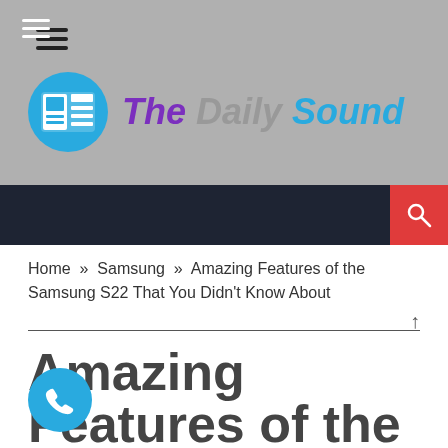[Figure (logo): The Daily Sound website logo with blue circle icon and colored text]
Home » Samsung » Amazing Features of the Samsung S22 That You Didn't Know About
Amazing Features of the